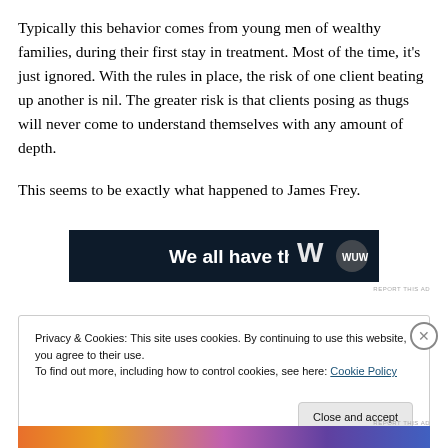Typically this behavior comes from young men of wealthy families, during their first stay in treatment. Most of the time, it's just ignored. With the rules in place, the risk of one client beating up another is nil. The greater risk is that clients posing as thugs will never come to understand themselves with any amount of depth.
This seems to be exactly what happened to James Frey.
[Figure (other): Advertisement banner with dark background showing text 'We all have them!' and a logo on the right side]
REPORT THIS AD
Privacy & Cookies: This site uses cookies. By continuing to use this website, you agree to their use.
To find out more, including how to control cookies, see here: Cookie Policy
Close and accept